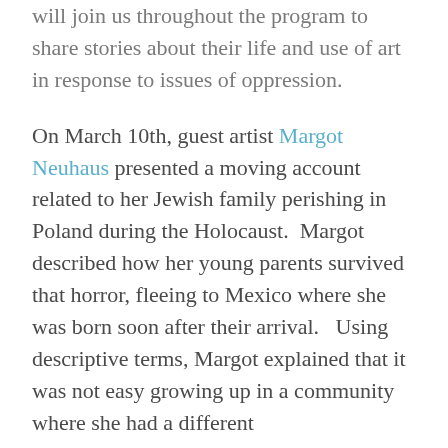will join us throughout the program to share stories about their life and use of art in response to issues of oppression.
On March 10th, guest artist Margot Neuhaus presented a moving account related to her Jewish family perishing in Poland during the Holocaust.  Margot described how her young parents survived that horror, fleeing to Mexico where she was born soon after their arrival.   Using descriptive terms, Margot explained that it was not easy growing up in a community where she had a different